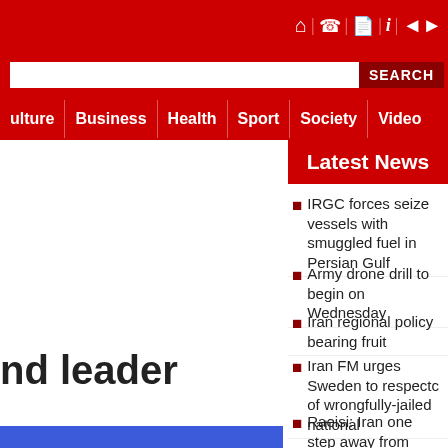Culture | Business | Health | Sport | Society | Video
Latest News
nd leader
IRGC forces seize vessels with smuggled fuel in Persian Gulf
Army drone drill to begin on Wednesday
Iran regional policy bearing fruit
Iran FM urges Sweden to respectc of wrongfully-jailed national
Raeisi: Iran one step away from manufacturing passenger jet
Iran FM urges Sweden to respect 'basic